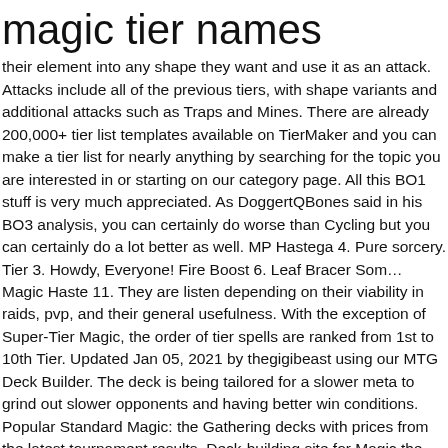magic tier names
their element into any shape they want and use it as an attack. Attacks include all of the previous tiers, with shape variants and additional attacks such as Traps and Mines. There are already 200,000+ tier list templates available on TierMaker and you can make a tier list for nearly anything by searching for the topic you are interested in or starting on our category page. All this BO1 stuff is very much appreciated. As DoggertQBones said in his BO3 analysis, you can certainly do worse than Cycling but you can certainly do a lot better as well. MP Hastega 4. Pure sorcery. Tier 3. Howdy, Everyone! Fire Boost 6. Leaf Bracer Som… Magic Haste 11. They are listen depending on their viability in raids, pvp, and their general usefulness. With the exception of Super-Tier Magic, the order of tier spells are ranked from 1st to 10th Tier. Updated Jan 05, 2021 by thegigibeast using our MTG Deck Builder. The deck is being tailored for a slower meta to grind out slower opponents and having better win conditions. Popular Standard Magic: the Gathering decks with prices from the latest tournament results. Deck-building site for Magic the Gathering: Arena. Tiers are not ranked. Attacks include all of the previous tiers, with shape variants and additional attacks such as Traps and Mines. This name generator will give you 10 random names